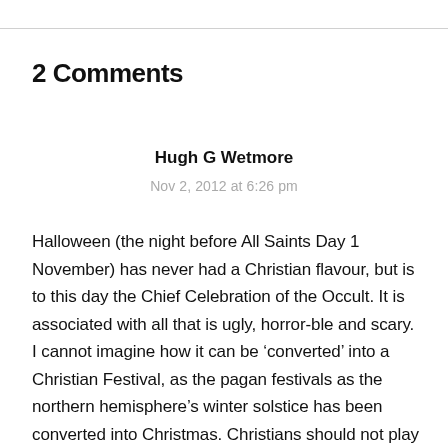2 Comments
Hugh G Wetmore
Nov 2, 2012 at 6:26 pm
Halloween (the night before All Saints Day 1 November) has never had a Christian flavour, but is to this day the Chief Celebration of the Occult. It is associated with all that is ugly, horror-ble and scary. I cannot imagine how it can be ‘converted’ into a Christian Festival, as the pagan festivals as the northern hemisphere’s winter solstice has been converted into Christmas. Christians should not play